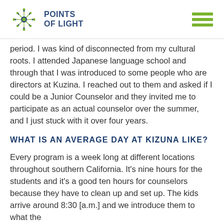POINTS OF LIGHT
period. I was kind of disconnected from my cultural roots. I attended Japanese language school and through that I was introduced to some people who are directors at Kuzina. I reached out to them and asked if I could be a Junior Counselor and they invited me to participate as an actual counselor over the summer, and I just stuck with it over four years.
WHAT IS AN AVERAGE DAY AT KIZUNA LIKE?
Every program is a week long at different locations throughout southern California. It's nine hours for the students and it's a good ten hours for counselors because they have to clean up and set up. The kids arrive around 8:30 [a.m.] and we introduce them to what the